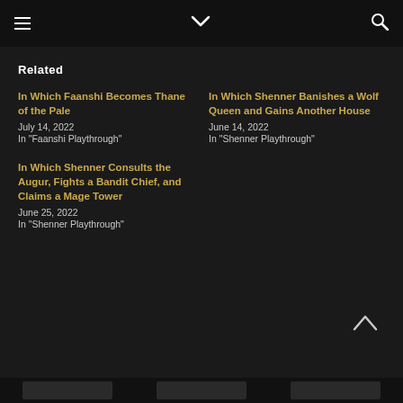≡  ∨  🔍
Related
In Which Faanshi Becomes Thane of the Pale
July 14, 2022
In "Faanshi Playthrough"
In Which Shenner Banishes a Wolf Queen and Gains Another House
June 14, 2022
In "Shenner Playthrough"
In Which Shenner Consults the Augur, Fights a Bandit Chief, and Claims a Mage Tower
June 25, 2022
In "Shenner Playthrough"